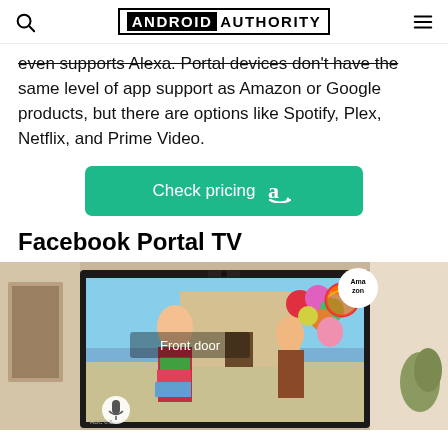ANDROID AUTHORITY
even supports Alexa. Portal devices don't have the same level of app support as Amazon or Google products, but there are options like Spotify, Plex, Netflix, and Prime Video.
[Figure (other): Check pricing button with Amazon logo in teal/green color]
Facebook Portal TV
[Figure (photo): Facebook Portal TV mounted on a TV screen showing two people holding colorful balloons and gift boxes at a front door, with 'Front door' text overlay and an Amazon badge in top right corner]